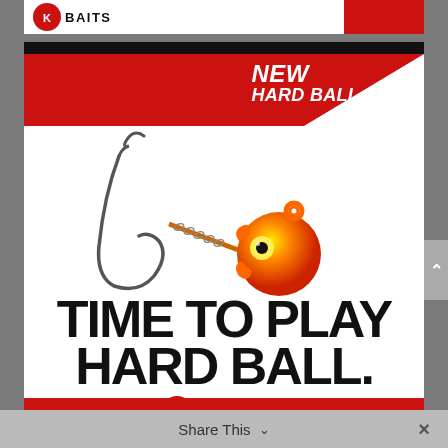[Figure (advertisement): Top partial banner showing KVD/Strike King Baits logo — red circle with brand mark and 'BAITS' text in black on white background, with a partial red button on the right side.]
[Figure (advertisement): VMC Hard Ball Jig advertisement. Red and white design with black top strip and red bottom strip. Upper red diagonal banner reads 'NEW HARD BALL JIG' in white italic bold text. Center shows a fishing jig with a metallic hook and orange/yellow round ball head with eye. Lower white area shows large bold black text 'TIME TO PLAY HARD BALL.' with VMC logo (red circle with white mark and 'VMC' text) below.]
Share This